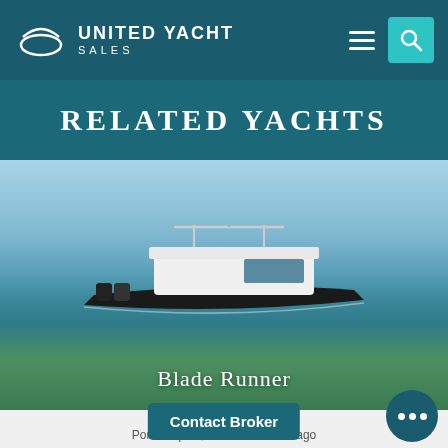[Figure (logo): United Yacht Sales logo with crescent/wave mark and white text on teal header]
RELATED YACHTS
[Figure (photo): A white and black sport yacht named Blade Runner on open water with blue sky and calm sea]
Blade Runner
47' In... 2007
Port of Spain, Trinidad and Tobago